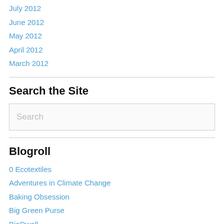July 2012
June 2012
May 2012
April 2012
March 2012
Search the Site
Search
Blogroll
0 Ecotextiles
Adventures in Climate Change
Baking Obsession
Big Green Purse
BioDwell
Birth to Thrive